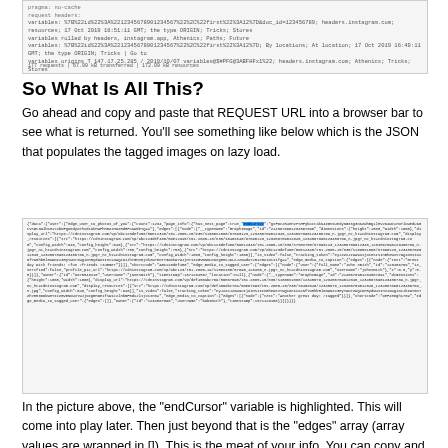[Figure (screenshot): Screenshot of a browser or terminal showing HTTP request/response details with URL and headers, with a status bar at the bottom showing request count and timing.]
So What Is All This?
Go ahead and copy and paste that REQUEST URL into a browser bar to see what is returned. You'll see something like below which is the JSON that populates the tagged images on lazy load.
[Figure (screenshot): Screenshot of a browser displaying raw JSON data. The 'endCursor' variable is highlighted in blue. The JSON contains edges array with image data.]
In the picture above, the "endCursor" variable is highlighted. This will come into play later. Then just beyond that is the "edges" array (array values are wrapped in []). This is the meat of your info. You can copy and paste that entire array. It